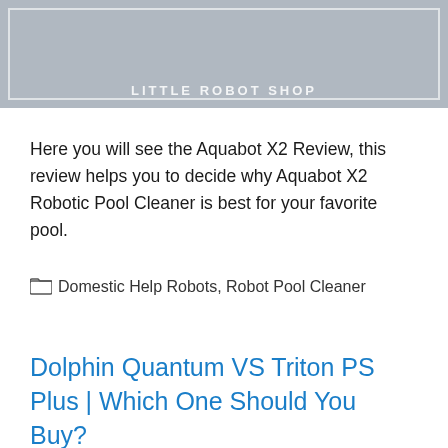[Figure (photo): Banner image with gray background showing a robot pool cleaner, with a white border overlay and 'LITTLE ROBOT SHOP' text watermark]
Here you will see the Aquabot X2 Review, this review helps you to decide why Aquabot X2 Robotic Pool Cleaner is best for your favorite pool.
Domestic Help Robots, Robot Pool Cleaner
Dolphin Quantum VS Triton PS Plus | Which One Should You Buy?